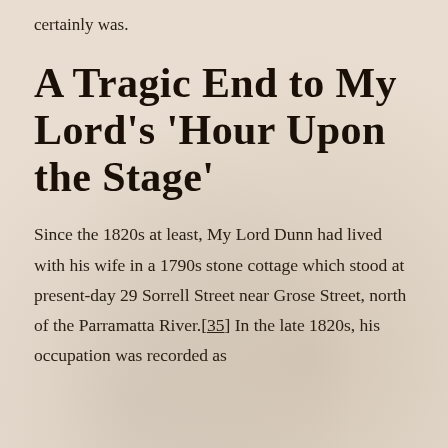certainly was.
A Tragic End to My Lord's ‘Hour Upon the Stage’
Since the 1820s at least, My Lord Dunn had lived with his wife in a 1790s stone cottage which stood at present-day 29 Sorrell Street near Grose Street, north of the Parramatta River.[35] In the late 1820s, his occupation was recorded as